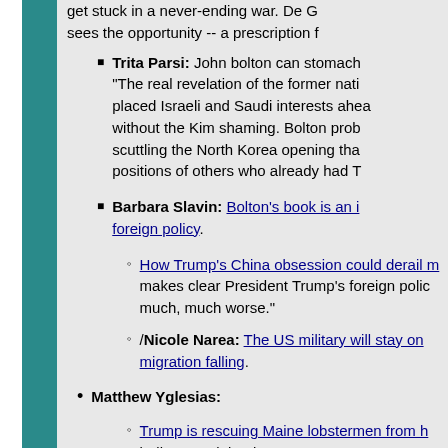get stuck in a never-ending war. De G sees the opportunity -- a prescription f
Trita Parsi: John bolton can stomach "The real revelation of the former nati placed Israeli and Saudi interests ahea without the Kim shaming. Bolton prob scuttling the North Korea opening tha positions of others who already had T
Barbara Slavin: Bolton's book is an i foreign policy.
How Trump's China obsession could derail m makes clear President Trump's foreign polic much, much worse."
/Nicole Narea: The US military will stay on migration falling.
Matthew Yglesias:
Trump is rescuing Maine lobstermen from h bailout, explained."
Martha McSally's bailout proposal for the t